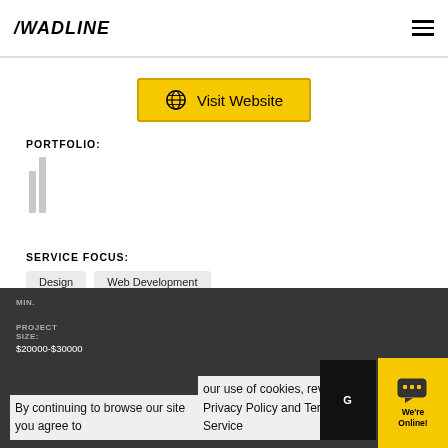/WADLINE
Visit Website
PORTFOLIO:
SERVICE FOCUS:
Design
Web Development
MIN.
PROJECT SIZE:
$20000-$30000
By continuing to browse our site you agree to our use of cookies, revised Privacy Policy and Terms of Service
We're Online!